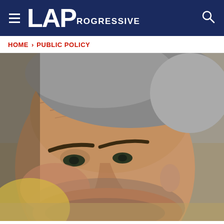LAProgressive
HOME > PUBLIC POLICY
[Figure (photo): Close-up photograph of an older man with grey hair, thick eyebrows, and stubble, appearing to be a politician or public figure, viewed from slightly below and to the side.]